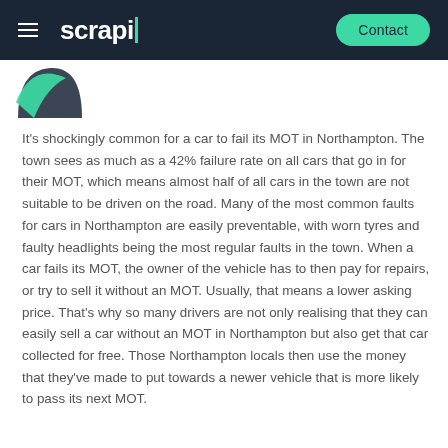scrapl | Contact
[Figure (logo): Partial circular logo with teal and dark navy leaf/arc shapes, bottom portion visible]
It's shockingly common for a car to fail its MOT in Northampton. The town sees as much as a 42% failure rate on all cars that go in for their MOT, which means almost half of all cars in the town are not suitable to be driven on the road. Many of the most common faults for cars in Northampton are easily preventable, with worn tyres and faulty headlights being the most regular faults in the town. When a car fails its MOT, the owner of the vehicle has to then pay for repairs, or try to sell it without an MOT. Usually, that means a lower asking price. That's why so many drivers are not only realising that they can easily sell a car without an MOT in Northampton but also get that car collected for free. Those Northampton locals then use the money that they've made to put towards a newer vehicle that is more likely to pass its next MOT.